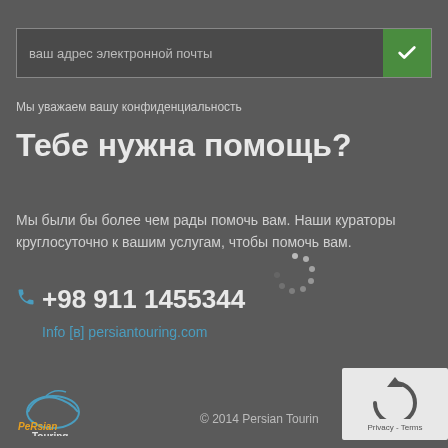ваш адрес электронной почты
Мы уважаем вашу конфиденциальность
Тебе нужна помощь?
Мы были бы более чем рады помочь вам. Наши кураторы круглосуточно к вашим услугам, чтобы помочь вам.
+98 911 1455344
Info [в] persiantouring.com
© 2014 Persian Touring